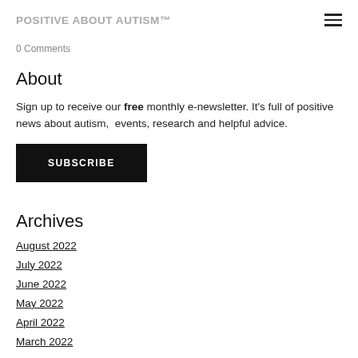POSITIVE ABOUT AUTISM™
0 Comments
About
Sign up to receive our free monthly e-newsletter. It's full of positive news about autism, events, research and helpful advice.
SUBSCRIBE
Archives
August 2022
July 2022
June 2022
May 2022
April 2022
March 2022